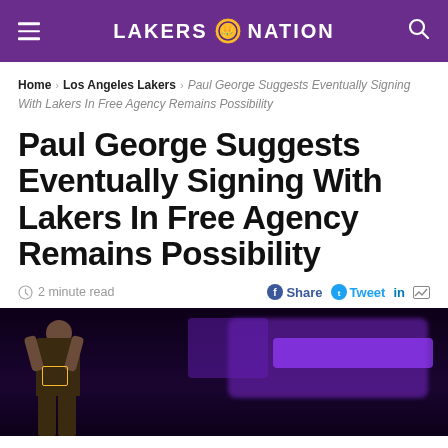LAKERS NATION
Home > Los Angeles Lakers > Paul George Suggests Eventually Signing With Lakers In Free Agency Remains Possibility
Paul George Suggests Eventually Signing With Lakers In Free Agency Remains Possibility
2 minute read  Share  Tweet  in  [email]
[Figure (photo): Basketball player in Lakers jersey on court with purple neon lights in background]